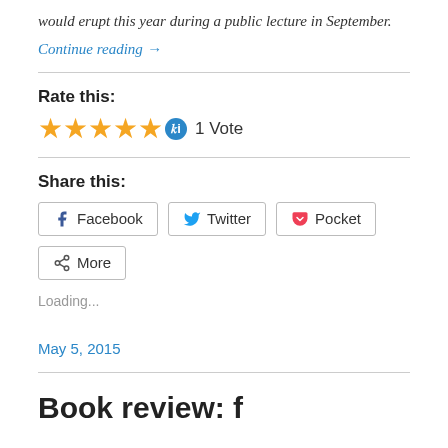would erupt this year during a public lecture in September.
Continue reading →
Rate this:
[Figure (other): Five gold stars rating widget with blue info icon, showing 1 Vote]
Share this:
[Figure (other): Share buttons: Facebook, Twitter, Pocket, More]
Loading...
May 5, 2015
Book review: f